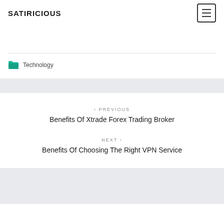SATIRICIOUS
Technology
< PREVIOUS
Benefits Of Xtrade Forex Trading Broker
NEXT >
Benefits Of Choosing The Right VPN Service